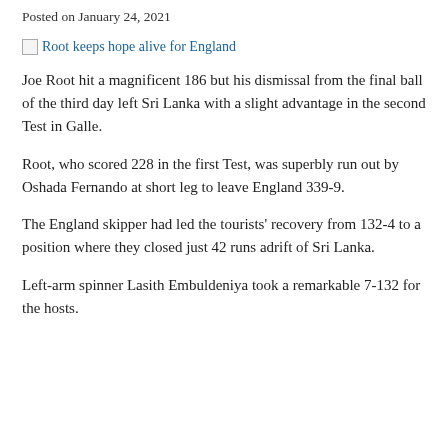Posted on January 24, 2021
[Figure (illustration): Broken image placeholder with alt text: Root keeps hope alive for England]
Joe Root hit a magnificent 186 but his dismissal from the final ball of the third day left Sri Lanka with a slight advantage in the second Test in Galle.
Root, who scored 228 in the first Test, was superbly run out by Oshada Fernando at short leg to leave England 339-9.
The England skipper had led the tourists' recovery from 132-4 to a position where they closed just 42 runs adrift of Sri Lanka.
Left-arm spinner Lasith Embuldeniya took a remarkable 7-132 for the hosts.